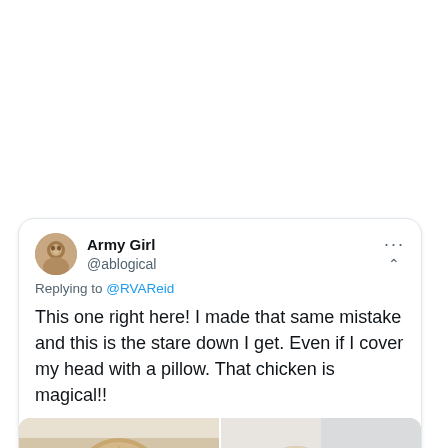[Figure (screenshot): Twitter/X screenshot of a tweet by Army Girl (@ablogical) replying to @RVAReid. The tweet reads: 'This one right here! I made that same mistake and this is the stare down I get. Even if I cover my head with a pillow. That chicken is magical!!' Below the text are two side-by-side photos of small fluffy dogs (a Shih Tzu type). The left photo shows the dog sitting on a floor looking up at the camera. The right photo shows the dog peeking out from under white bed covers.]